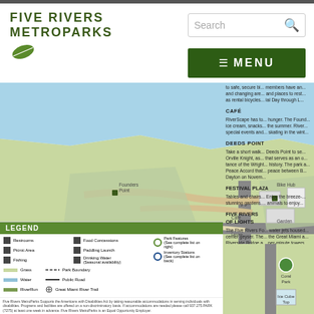FIVE RIVERS METROPARKS
[Figure (map): RiverScape MetroPark map showing park features, roads, water, grass areas, pavilions, bike hub, fountains, Deeds Point, Festival Plaza, and surrounding streets. Includes a RiverScape Five Rivers MetroParks logo overlay and compass rose.]
to safe, secure bi... members have an... and changing are... and places to rest... as rental bicycles... ial Day through L...
CAFÉ
RiverScape has to... hunger. The Found... ice cream, snacks... the summer. River... special events and... skating in the wint...
DEEDS POINT
Take a short walk... Deeds Point to se... Orville Knight, as... that serves as an o... tance of the Wright... history. The park a... Peace Accord that... peace between B... Dayton on Novem...
FESTIVAL PLAZA
Tables and chairs... Enjoy the breeze-... stunning gardens.... animals to enjoy...
FIVE RIVERS FOUNTAINS OF LIGHTS
The Five Rivers Fo... water jets housed... center geyser. The... the Great Miami a... Riverside Bridge a... per-minute towers... central geyser rises... in the air. Covering... 800' diameter, the... one of the largest...
[Figure (map): Lower right portion of park map showing Coral Park, Ice Cube area, Park Register.]
| Icon | Description |
| --- | --- |
| ■ | Restrooms |
| ■ | Picnic Area |
| ■ | Fishing |
| ■ | Food Concessions |
| ■ | Paddling Launch |
| ■ | Drinking Water (Seasonal availability) |
| ○ | Park Features (See complete list on right) |
| ○ | Inventory Stations (See complete list on back) |
| — | Grass |
| — | Water |
| — | RiverRun |
| — | Park Boundary |
| — | Public Road |
| ✱ | Great Miami River Trail |
Five Rivers MetroParks Supports the Americans with Disabilities Act by making reasonable accommodations in serving individuals with disabilities. Programs and facilities are offered on a non-discriminatory basis. If accommodations are needed please call 937.275.PARK (7275) at least one week in advance. Five Rivers MetroParks is an Equal Opportunity Employer.